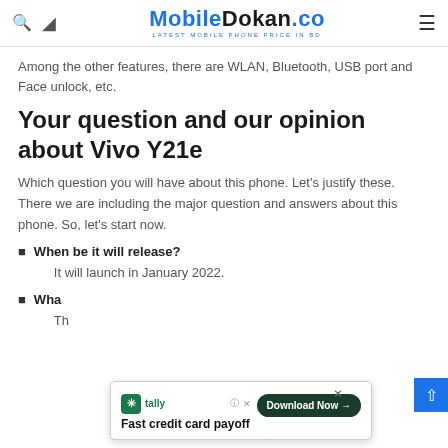MobileDokan.co — LATEST MOBILE PHONE PRICE IN BD
Among the other features, there are WLAN, Bluetooth, USB port and Face unlock, etc.
Your question and our opinion about Vivo Y21e
Which question you will have about this phone. Let's justify these. There we are including the major question and answers about this phone. So, let's start now.
When be it will release? It will launch in January 2022.
Wha... Th...